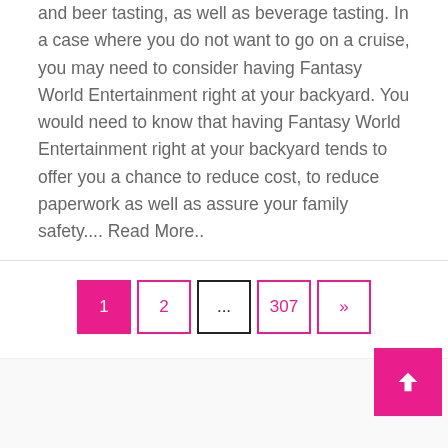and beer tasting, as well as beverage tasting. In a case where you do not want to go on a cruise, you may need to consider having Fantasy World Entertainment right at your backyard. You would need to know that having Fantasy World Entertainment right at your backyard tends to offer you a chance to reduce cost, to reduce paperwork as well as assure your family safety.... Read More..
1 2 ... 307 »
Search ...